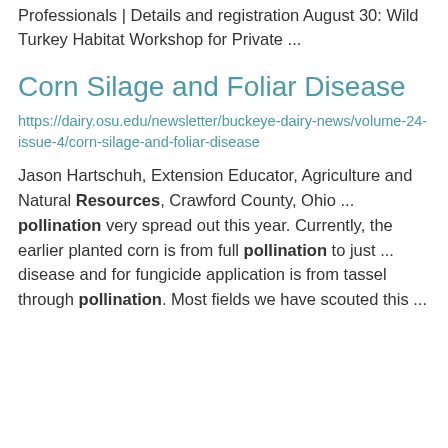Professionals | Details and registration August 30: Wild Turkey Habitat Workshop for Private ...
Corn Silage and Foliar Disease
https://dairy.osu.edu/newsletter/buckeye-dairy-news/volume-24-issue-4/corn-silage-and-foliar-disease
Jason Hartschuh, Extension Educator, Agriculture and Natural Resources, Crawford County, Ohio ... pollination very spread out this year. Currently, the earlier planted corn is from full pollination to just ... disease and for fungicide application is from tassel through pollination. Most fields we have scouted this ...